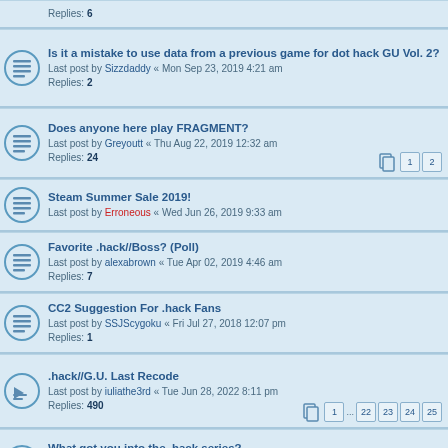Replies: 6
Is it a mistake to use data from a previous game for dot hack GU Vol. 2?
Last post by Sizzdaddy « Mon Sep 23, 2019 4:21 am
Replies: 2
Does anyone here play FRAGMENT?
Last post by Greyoutt « Thu Aug 22, 2019 12:32 am
Replies: 24
Pages: 1, 2
Steam Summer Sale 2019!
Last post by Erroneous « Wed Jun 26, 2019 9:33 am
Favorite .hack//Boss? (Poll)
Last post by alexabrown « Tue Apr 02, 2019 4:46 am
Replies: 7
CC2 Suggestion For .hack Fans
Last post by SSJScygoku « Fri Jul 27, 2018 12:07 pm
Replies: 1
.hack//G.U. Last Recode
Last post by iuliathe3rd « Tue Jun 28, 2022 8:11 pm
Replies: 490
Pages: 1 ... 22 23 24 25
What got you into the .hack series?
Last post by Smiling kindly « Wed Nov 04, 2015 8:19 pm
Replies: 27
Pages: 1, 2
.hack getting reboot/ new game
Last post by Erroneous « Mon Sep 21, 2015 8:49 am
Replies: 2